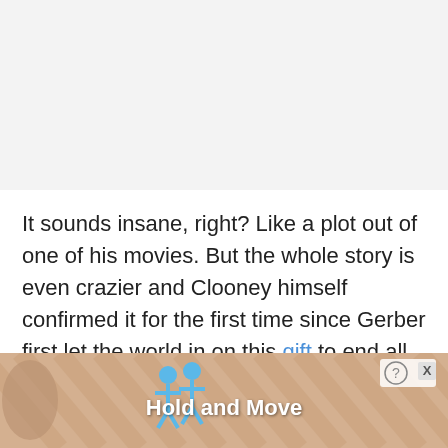It sounds insane, right? Like a plot out of one of his movies. But the whole story is even crazier and Clooney himself confirmed it for the first time since Gerber first let the world in on this gift to end all gifts, which was given in September 2013.
[Figure (screenshot): Advertisement banner at the bottom showing 'Hold and Move' with two blue human figures and a close button (? X) in the upper right corner, on a tan/wood-colored striped background.]